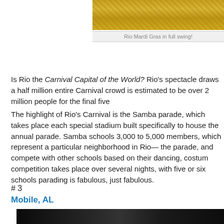[Figure (photo): Rio Mardi Gras parade scene with golden decorations]
Rio Mardi Gras in full swing!
Is Rio the Carnival Capital of the World? Rio's spectacle draws a half million entire Carnival crowd is estimated to be over 2 million people for the final five
The highlight of Rio's Carnival is the Samba parade, which takes place each special stadium built specifically to house the annual parade. Samba schools 3,000 to 5,000 members, which represent a particular neighborhood in Rio— the parade, and compete with other schools based on their dancing, costume competition takes place over several nights, with five or six schools parading is fabulous, just fabulous.
# 3
Mobile, AL
There is only one Mardi Gras in America older than the New Orleans Mardi G only 144 miles away. Begun by Nicholas Langlois of France in 1703, fifteen y was founded, although today the Crescent City's celebration is much more w first capital of French Louisiana (1702), the festival began as a French Catho around the world.
[Figure (photo): Dark image of Mobile AL Mardi Gras scene]